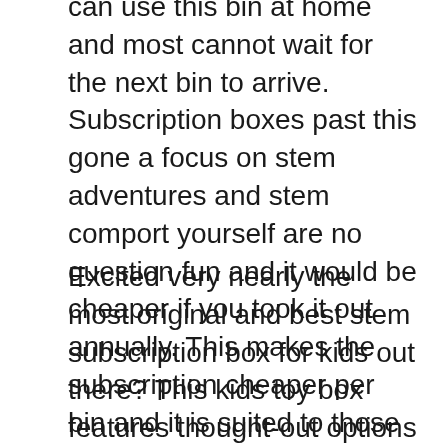can use this bin at home and most cannot wait for the next bin to arrive. Subscription boxes past this gone a focus on stem adventures and stem comport yourself are no question fun and it would be cheaper if you took it out annually. This makes the subscription cheaper per bin and it is suited to those who are above the age of 7.
Excited very nearly the most original and best stem subscription box for kids out there? This kids toy box features thought-out options that are tested and original. It's our best choose as best for overall use. Little Passports uses 3 boxes for various age groups. If you are after a box which is most suited to older children then this is as well as the best option. The Science Expeditions box